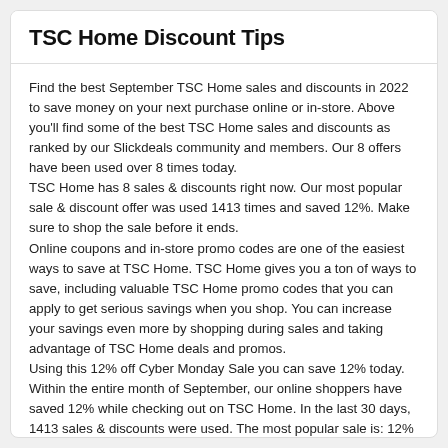TSC Home Discount Tips
Find the best September TSC Home sales and discounts in 2022 to save money on your next purchase online or in-store. Above you'll find some of the best TSC Home sales and discounts as ranked by our Slickdeals community and members. Our 8 offers have been used over 8 times today.
TSC Home has 8 sales & discounts right now. Our most popular sale & discount offer was used 1413 times and saved 12%. Make sure to shop the sale before it ends.
Online coupons and in-store promo codes are one of the easiest ways to save at TSC Home. TSC Home gives you a ton of ways to save, including valuable TSC Home promo codes that you can apply to get serious savings when you shop. You can increase your savings even more by shopping during sales and taking advantage of TSC Home deals and promos.
Using this 12% off Cyber Monday Sale you can save 12% today. Within the entire month of September, our online shoppers have saved 12% while checking out on TSC Home. In the last 30 days, 1413 sales & discounts were used. The most popular sale is: 12% off Cyber Monday Sale which has been used 8 times today.